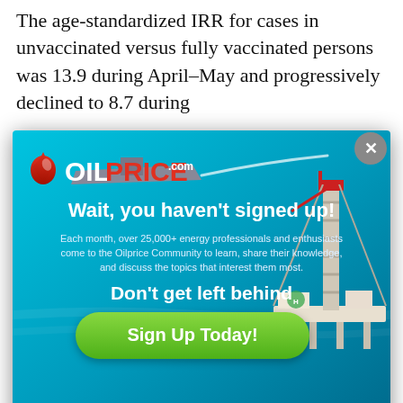The age-standardized IRR for cases in unvaccinated versus fully vaccinated persons was 13.9 during April–May and progressively declined to 8.7 during
[Figure (other): OilPrice.com advertisement popup overlay. Contains logo with oil drop icon, headline 'Wait, you haven't signed up!', body text about 25,000+ energy professionals, subheadline 'Don't get left behind', green 'Sign Up Today!' button, and background image of an offshore oil drilling rig with blue ocean water and a ship in the background. Close button (X) in top right corner.]
November.
Rates of COVID-19 cases were lowest among fully vaccinated persons with a booster dose, compared